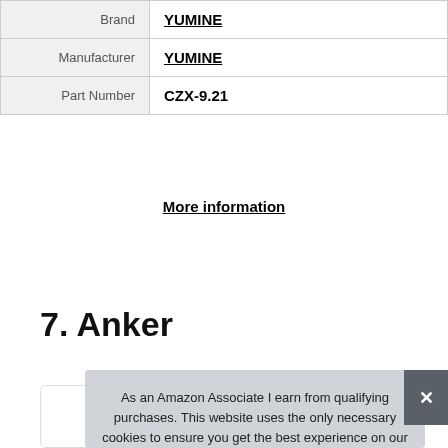| Brand | YUMINE |
| Manufacturer | YUMINE |
| Part Number | CZX-9.21 |
More information
7. Anker
As an Amazon Associate I earn from qualifying purchases. This website uses the only necessary cookies to ensure you get the best experience on our website. More information